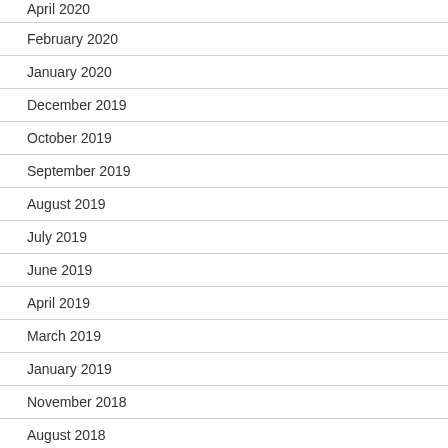April 2020
February 2020
January 2020
December 2019
October 2019
September 2019
August 2019
July 2019
June 2019
April 2019
March 2019
January 2019
November 2018
August 2018